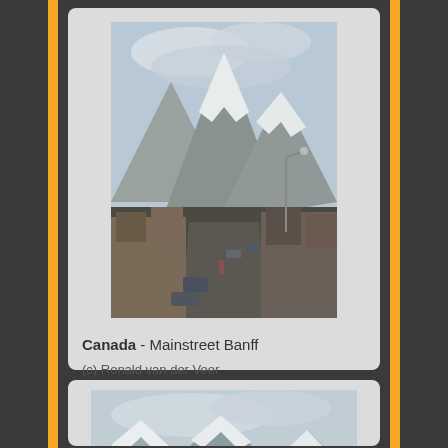[Figure (photo): Photograph of Mainstreet Banff, Canada showing a road lined with buildings and snow-capped mountains in the background under cloudy sky]
Canada - Mainstreet Banff
(c) Ronald van der Veer (http://www.veeronline.nl)
[Figure (photo): Photograph showing a hot spring or pool area surrounded by tall evergreen trees with snow-covered mountains in background]